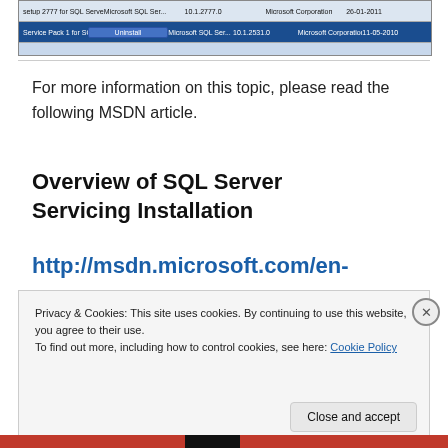[Figure (screenshot): Screenshot of Windows programs list showing SQL Server 2000 entries with an Uninstall button visible on a highlighted row]
For more information on this topic, please read the following MSDN article.
Overview of SQL Server Servicing Installation
http://msdn.microsoft.com/en-
Privacy & Cookies: This site uses cookies. By continuing to use this website, you agree to their use.
To find out more, including how to control cookies, see here: Cookie Policy
Close and accept